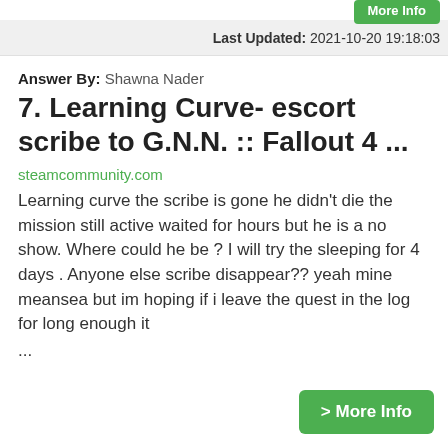Last Updated: 2021-10-20 19:18:03
Answer By: Shawna Nader
7. Learning Curve- escort scribe to G.N.N. :: Fallout 4 ...
steamcommunity.com
Learning curve the scribe is gone he didn't die the mission still active waited for hours but he is a no show. Where could he be ? I will try the sleeping for 4 days . Anyone else scribe disappear?? yeah mine meansea but im hoping if i leave the quest in the log for long enough it ...